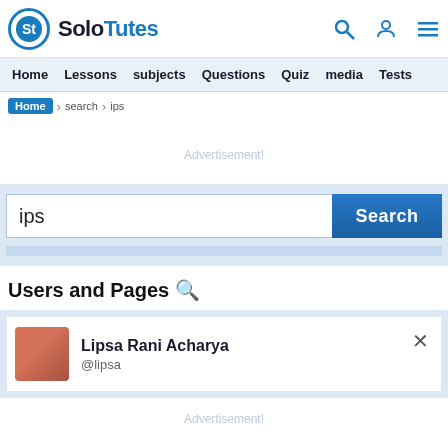SoloTutes — Home Lessons subjects Questions Quiz media Tests
Home › search › ips
Advertisement!
ips Search
Users and Pages 🔍
Lipsa Rani Acharya @lipsa
Advertisement!